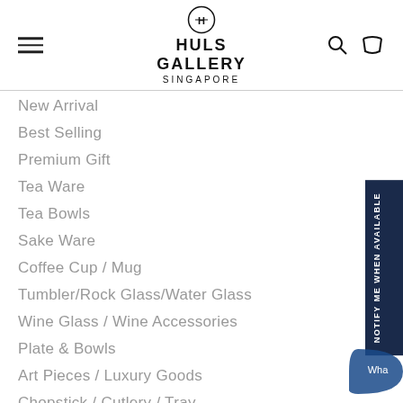HULS GALLERY SINGAPORE
New Arrival
Best Selling
Premium Gift
Tea Ware
Tea Bowls
Sake Ware
Coffee Cup / Mug
Tumbler/Rock Glass/Water Glass
Wine Glass / Wine Accessories
Plate & Bowls
Art Pieces / Luxury Goods
Chopstick / Cutlery / Tray